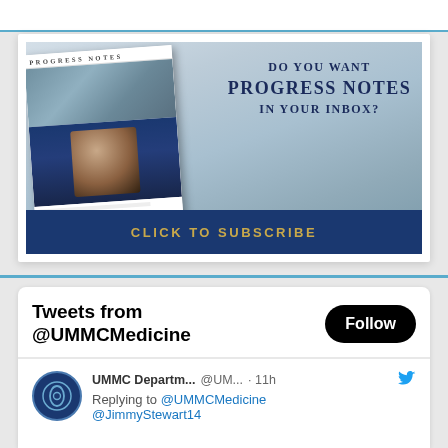[Figure (infographic): Progress Notes newsletter subscription banner with magazine cover mockup on the left and aerial campus photo on the right, with text 'DO YOU WANT PROGRESS NOTES IN YOUR INBOX?' and a blue 'CLICK TO SUBSCRIBE' bar at the bottom]
Tweets from @UMMCMedicine
Follow
UMMC Departm... @UM... · 11h
Replying to @UMMCMedicine @JimmyStewart14